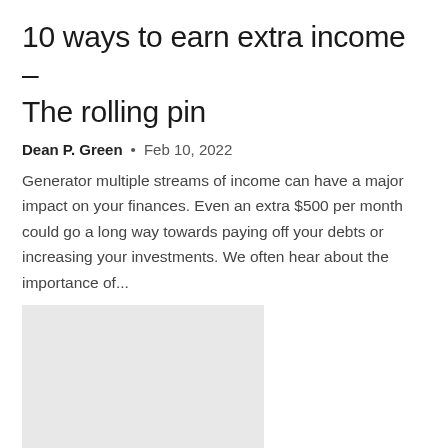10 ways to earn extra income – The rolling pin
Dean P. Green  •  Feb 10, 2022
Generator multiple streams of income can have a major impact on your finances. Even an extra $500 per month could go a long way towards paying off your debts or increasing your investments. We often hear about the importance of...
[Figure (photo): Gray placeholder image thumbnail]
3 Real Estate Stocks to Buy Now for Income via Dividends